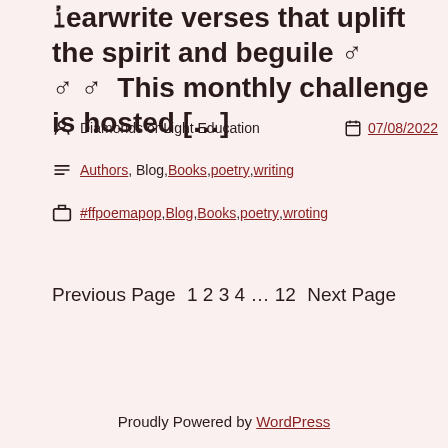ꞽearwrite verses that uplift the spirit and beguile ♂ ♂ ♂  This monthly challenge is hosted […]
Post author: Diamonds or Light Education   Date: 07/08/2022
Categories: Authors, Blog, Books, poetry, writing
Tags: #ffpoemapop, Blog, Books, poetry, wroting
Previous Page   1 2 3 4 … 12   Next Page
Proudly Powered by WordPress